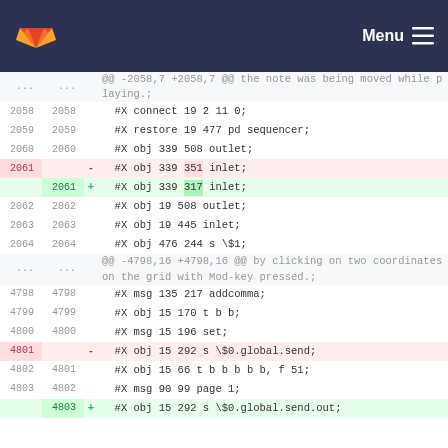Menu
... ... @@ -2058,7 +2058,7 @@ the note was being moved while playing.;
2058 2058    #X connect 19 2 11 0;
2059 2059    #X restore 19 477 pd sequencer;
2060 2060    #X obj 339 508 outlet;
2061      -  #X obj 339 351 inlet;
2061 +  #X obj 339 317 inlet;
2062 2062    #X obj 19 508 outlet;
2063 2063    #X obj 19 445 inlet;
2064 2064    #X obj 476 244 s \$1;
... ... @@ -4798,16 +4798,16 @@ by clicking on two coordinates on the grid with Mod-key pressed.;
4798 4798    #X msg 135 217 addcomma;
4799 4799    #X obj 15 170 t b b;
4800 4800    #X msg 15 196 set;
4801      -  #X obj 15 292 s \$0.global.send;
4802 4801    #X obj 15 66 t b b b b b, f 51;
4803 4802    #X msg 90 99 page 1;
4803 +  #X obj 15 292 s \$0.global.send.out;